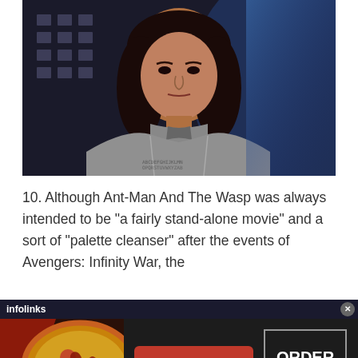[Figure (photo): A woman in a grey superhero suit (The Wasp costume) looking directly at camera with a concerned expression, standing in a dimly lit futuristic environment with blue lighting in background.]
10. Although Ant-Man And The Wasp was always intended to be "a fairly stand-alone movie" and a sort of "palette cleanser" after the events of Avengers: Infinity War, the
[Figure (screenshot): An advertisement banner for Seamless food delivery service. Left side shows pizza image, center has a red button with 'seamless' text, right side has a bordered box saying 'ORDER NOW'. Top bar shows 'infolinks' branding with a close X button.]